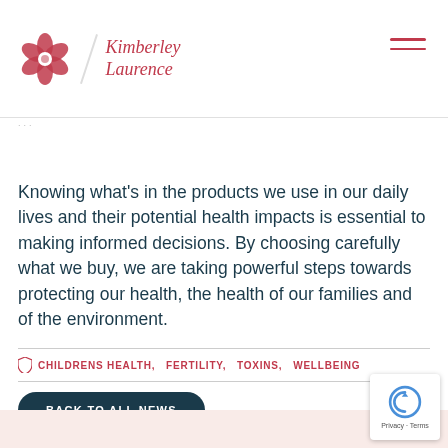Kimberley Laurence
Knowing what's in the products we use in our daily lives and their potential health impacts is essential to making informed decisions. By choosing carefully what we buy, we are taking powerful steps towards protecting our health, the health of our families and of the environment.
CHILDRENS HEALTH,   FERTILITY,   TOXINS,   WELLBEING
BACK TO ALL NEWS